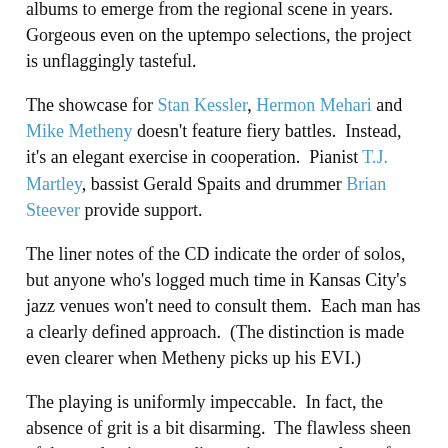albums to emerge from the regional scene in years. Gorgeous even on the uptempo selections, the project is unflaggingly tasteful.
The showcase for Stan Kessler, Hermon Mehari and Mike Metheny doesn't feature fiery battles. Instead, it's an elegant exercise in cooperation. Pianist T.J. Martley, bassist Gerald Spaits and drummer Brian Steever provide support.
The liner notes of the CD indicate the order of solos, but anyone who's logged much time in Kansas City's jazz venues won't need to consult them. Each man has a clearly defined approach. (The distinction is made even clearer when Metheny picks up his EVI.)
The playing is uniformly impeccable. In fact, the absence of grit is a bit disarming. The flawless sheen of the production may disappoint anyone who prefers a greasier sound. Even a version of Jimmy Smith's "Back at the Chicken Shack" is as clean as a whistle. The production and the material align on the ballads. The Metheny feature "For Parkville," the album's closing track, is rapturously beautiful.